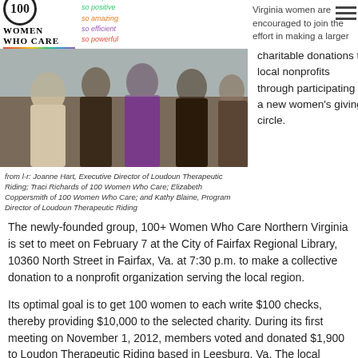[Figure (logo): 100 Women Who Care Northern Virginia logo with taglines: so simple, so positive, so amazing, so efficient, so powerful]
Virginia women are encouraged to join the effort in making a larger impact on charitable donations to local nonprofits through participating in a new women's giving circle.
[Figure (photo): Group photo of four women outdoors]
from l-r: Joanne Hart, Executive Director of Loudoun Therapeutic Riding; Traci Richards of 100 Women Who Care; Elizabeth Coppersmith of 100 Women Who Care; and Kathy Blaine, Program Director of Loudoun Therapeutic Riding
The newly-founded group, 100+ Women Who Care Northern Virginia is set to meet on February 7 at the City of Fairfax Regional Library, 10360 North Street in Fairfax, Va. at 7:30 p.m. to make a collective donation to a nonprofit organization serving the local region.
Its optimal goal is to get 100 women to each write $100 checks, thereby providing $10,000 to the selected charity. During its first meeting on November 1, 2012, members voted and donated $1,900 to Loudon Therapeutic Riding based in Leesburg, Va. The local